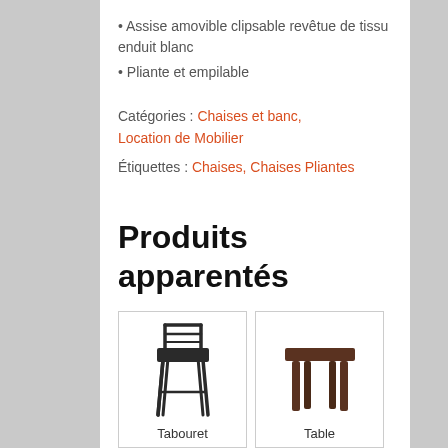• Assise amovible clipsable revêtue de tissu enduit blanc
• Pliante et empilable
Catégories : Chaises et banc, Location de Mobilier
Étiquettes : Chaises, Chaises Pliantes
Produits apparentés
[Figure (photo): Tabouret de bar noir en métal/rotin]
[Figure (photo): Table basse carrée marron foncé]
Tabouret
Table